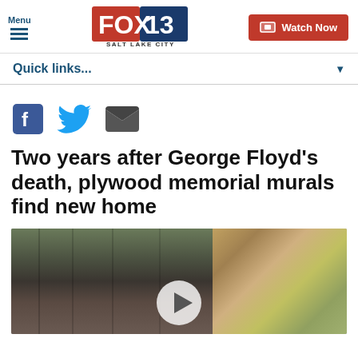FOX 13 SALT LAKE CITY — Menu | Watch Now
Quick links...
[Figure (other): Social share icons: Facebook, Twitter, Email]
Two years after George Floyd's death, plywood memorial murals find new home
[Figure (photo): Blurred photo of plywood murals, with a video play button overlay]